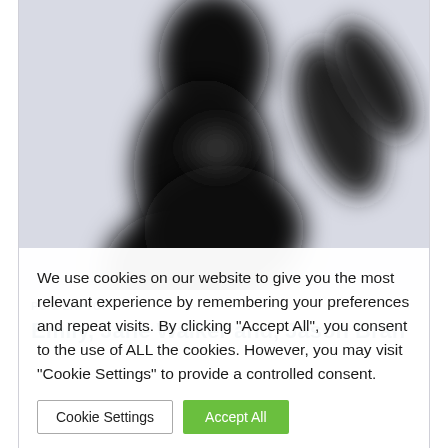[Figure (photo): Silhouetted blurred photo showing dark abstract shapes of what appear to be two figures, one raising an arm, against a light background.]
PC & LAPTOP
Emily, Jane Walker and, Jason Bran
We use cookies on our website to give you the most relevant experience by remembering your preferences and repeat visits. By clicking "Accept All", you consent to the use of ALL the cookies. However, you may visit "Cookie Settings" to provide a controlled consent.